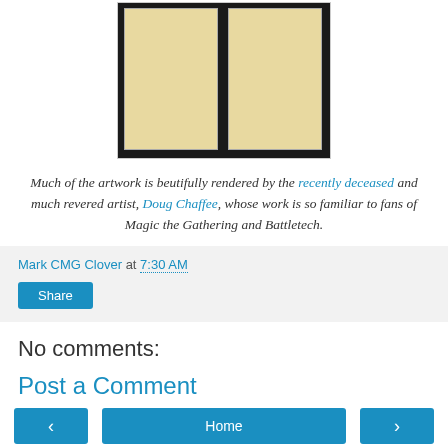[Figure (photo): Photograph of two BattleTech-style game board sheets side by side, showing numbers 9, 1 on left and 6, 2 on right, with dark background]
Much of the artwork is beutifully rendered by the recently deceased and much revered artist, Doug Chaffee, whose work is so familiar to fans of Magic the Gathering and Battletech.
Mark CMG Clover at 7:30 AM
Share
No comments:
Post a Comment